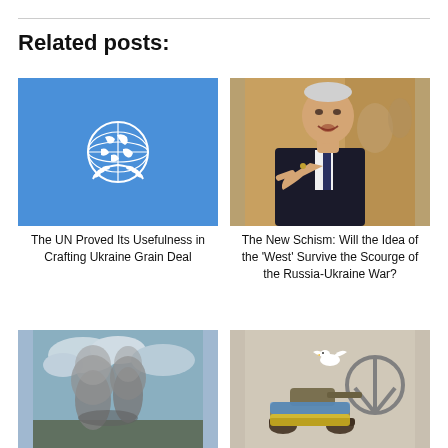Related posts:
[Figure (photo): UN logo — white globe and olive branches on blue background]
The UN Proved Its Usefulness in Crafting Ukraine Grain Deal
[Figure (photo): Photo of President Biden speaking, pointing finger, wearing dark suit]
The New Schism: Will the Idea of the 'West' Survive the Scourge of the Russia-Ukraine War?
[Figure (photo): War photo showing smoke plumes rising from landscape under cloudy sky]
[Figure (photo): Graffiti art of a tank with Ukrainian flag colors, a peace sign, and a dove]